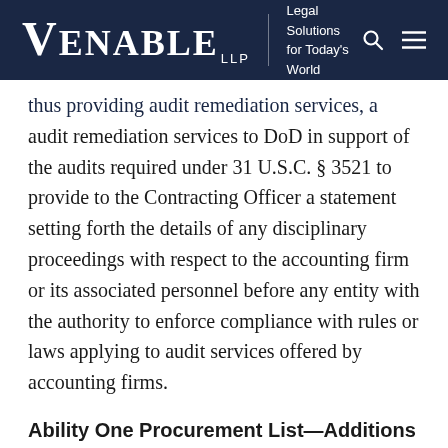VENABLE LLP | Legal Solutions for Today's World
audit remediation services to DoD in support of the audits required under 31 U.S.C. § 3521 to provide to the Contracting Officer a statement setting forth the details of any disciplinary proceedings with respect to the accounting firm or its associated personnel before any entity with the authority to enforce compliance with rules or laws applying to audit services offered by accounting firms.
Ability One Procurement List—Additions &